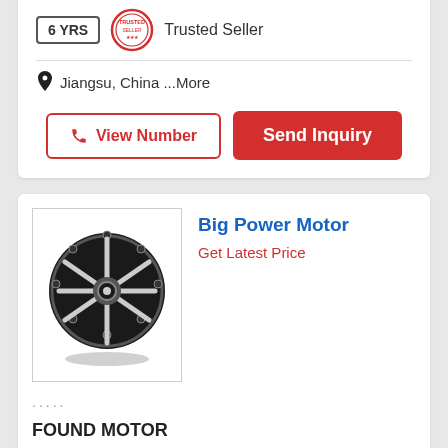6 YRS
Trusted Seller
Jiangsu, China ...More
View Number
Send Inquiry
Big Power Motor
Get Latest Price
[Figure (photo): Black circular motor with silver spoke-like blades radiating from center hub]
.....
FOUND MOTOR
1 YRS
[Figure (logo): Colorful grid/certificate icon badge]
[Figure (logo): Red circular Trusted Seller stamp]
Trusted Seller